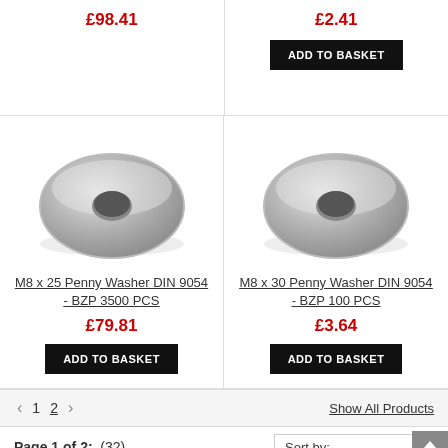£98.41
£2.41
ADD TO BASKET
[Figure (photo): Penny washer, flat circular zinc-plated metal washer with center hole, M8 x 25]
[Figure (photo): Penny washer, flat circular zinc-plated metal washer with center hole, M8 x 30]
M8 x 25 Penny Washer DIN 9054 - BZP 3500 PCS
M8 x 30 Penny Washer DIN 9054 - BZP 100 PCS
£79.81
£3.64
ADD TO BASKET
ADD TO BASKET
1  2  >  Show All Products
Page 1 of 2:   (32)
Sort by: